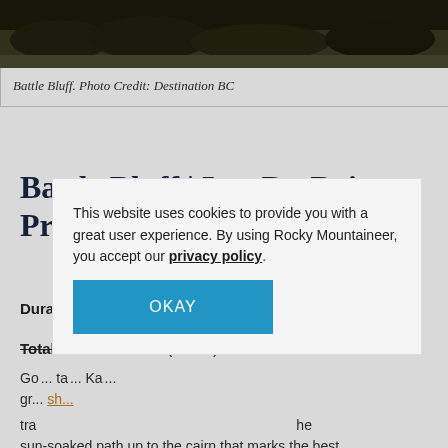[Figure (photo): Dark landscape photo of Battle Bluff, showing rocky terrain and brush at the top portion of the image.]
Battle Bluff. Photo Credit: Destination BC
Battle Bluff | Lac Du Bois Provincial Park
Duration: 1.5-2 hours return
Total Distance: 5 km (3.1 mi)
Go... ta... Ka... gr... sh... tra... the sun-soaked path up to the cairn that marks the best
[Figure (screenshot): Cookie consent modal: 'This website uses cookies to provide you with a great user experience. By using Rocky Mountaineer, you accept our privacy policy.' with an OKAY button.]